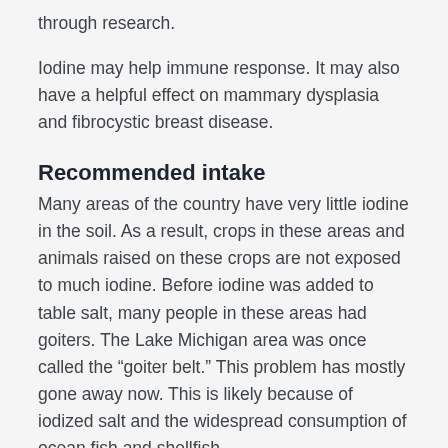through research.
Iodine may help immune response. It may also have a helpful effect on mammary dysplasia and fibrocystic breast disease.
Recommended intake
Many areas of the country have very little iodine in the soil. As a result, crops in these areas and animals raised on these crops are not exposed to much iodine. Before iodine was added to table salt, many people in these areas had goiters. The Lake Michigan area was once called the “goiter belt.” This problem has mostly gone away now. This is likely because of iodized salt and the widespread consumption of ocean fish and shellfish.
But people living in areas without enough iodine in the soil may still need iodine supplements. This includes people living in the Great Lakes states and mountain